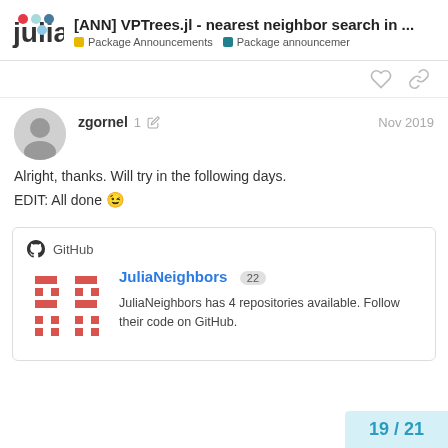[ANN] VPTrees.jl - nearest neighbor search in ... | Package Announcements | Package announcemer
zgornel  1  Nov 2019
Alright, thanks. Will try in the following days.
EDIT: All done 😉
[Figure (screenshot): GitHub card for JuliaNeighbors showing logo, repo name with badge count 22, and description text]
19 / 21